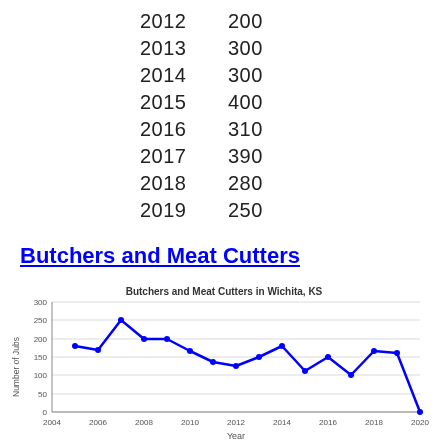| Year | Value |
| --- | --- |
| 2012 | 200 |
| 2013 | 300 |
| 2014 | 300 |
| 2015 | 400 |
| 2016 | 310 |
| 2017 | 390 |
| 2018 | 280 |
| 2019 | 250 |
Butchers and Meat Cutters
[Figure (line-chart): Butchers and Meat Cutters in Wichita, KS]